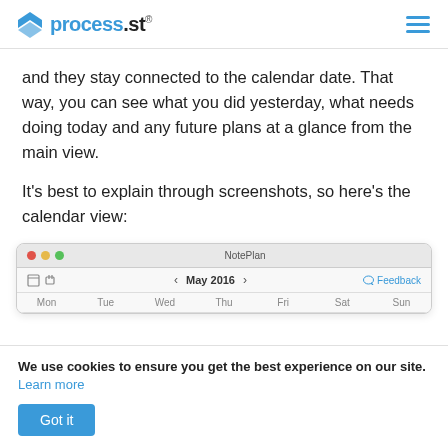process.st
and they stay connected to the calendar date. That way, you can see what you did yesterday, what needs doing today and any future plans at a glance from the main view.
It's best to explain through screenshots, so here's the calendar view:
[Figure (screenshot): Screenshot of NotePlan app showing calendar view with May 2016 header and day columns: Mon, Tue, Wed, Thu, Fri, Sat, Sun]
We use cookies to ensure you get the best experience on our site. Learn more
Got it